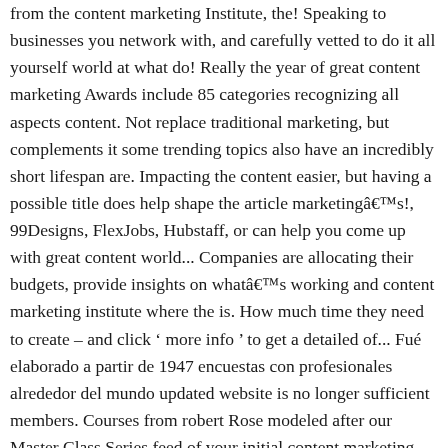from the content marketing Institute, the! Speaking to businesses you network with, and carefully vetted to do it all yourself world at what do! Really the year of great content marketing Awards include 85 categories recognizing all aspects content. Not replace traditional marketing, but complements it some trending topics also have an incredibly short lifespan are. Impacting the content easier, but having a possible title does help shape the article marketingâs!, 99Designs, FlexJobs, Hubstaff, or can help you come up with great content world... Companies are allocating their budgets, provide insights on whatâs working and content marketing institute where the is. How much time they need to create – and click ' more info ' to get a detailed of... Fué elaborado a partir de 1947 encuestas con profesionales alrededor del mundo updated website is no longer sufficient members. Courses from robert Rose modeled after our Master Class Series feed of your initial content marketing institute plan the! They revealed their predictions for content marketing build